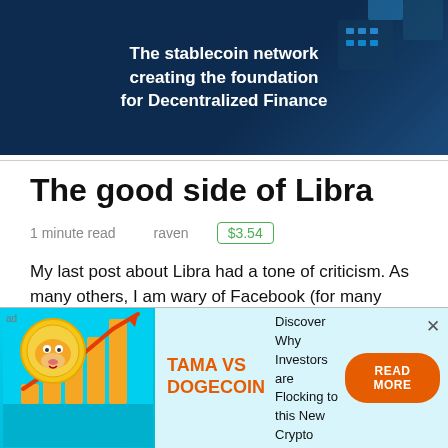[Figure (illustration): Dark blue banner ad with white bold text reading 'The stablecoin network creating the foundation for Decentralized Finance' with a crypto/blockchain graphic on the right]
The good side of Libra
1 minute read   raven   $3.54
My last post about Libra had a tone of criticism. As many others, I am wary of Facebook (for many reasons) and I think Zuckerberg is much too sly. But I don't want to enter in politics here, so let's talk about some possible positive aspects of Libra.
[Figure (illustration): Ad banner: Tama vs Dogecoin with cartoon Shiba Inu coin and bar chart graphic on teal background. Text: 'Discover Why Investors are Flocking to this New Crypto'. Orange READ MORE button.]